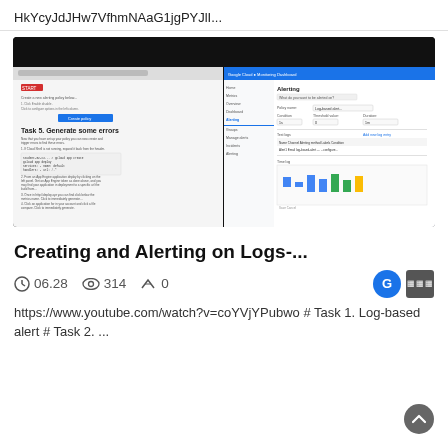HkYcyJdJHw7VfhmNAaG1jgPYJlI...
[Figure (screenshot): Screenshot of a web browser showing two side-by-side panels: a tutorial page titled 'Task 5. Generate some errors' on the left and a Google Cloud console interface on the right.]
Creating and Alerting on Logs-...
06.28   314   0
https://www.youtube.com/watch?v=coYVjYPubwo # Task 1. Log-based alert # Task 2. ...